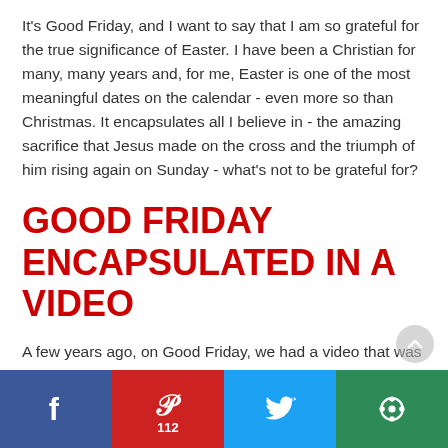It's Good Friday, and I want to say that I am so grateful for the true significance of Easter. I have been a Christian for many, many years and, for me, Easter is one of the most meaningful dates on the calendar - even more so than Christmas. It encapsulates all I believe in - the amazing sacrifice that Jesus made on the cross and the triumph of him rising again on Sunday - what's not to be grateful for?
GOOD FRIDAY ENCAPSULATED IN A VIDEO
A few years ago, on Good Friday, we had a video that was played in church that was titled "It's Friday, but Sunday's coming!" and it has stayed with me all this time (I have a memory like a goldfish when it comes to movie plots and